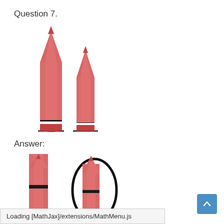Question 7.
[Figure (illustration): Two red/pink crayons side by side. The left crayon is taller and the right crayon is shorter. Both have black bands and sit on a short black line base.]
Answer:
[Figure (illustration): Two red/pink crayons side by side in the answer section. The left crayon is taller. The right (shorter) crayon is circled with a thick black oval outline, indicating it is the correct/selected answer.]
Loading [MathJax]/extensions/MathMenu.js